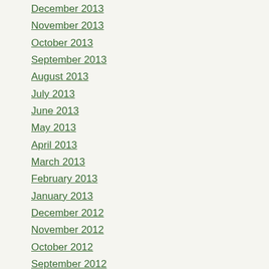December 2013
November 2013
October 2013
September 2013
August 2013
July 2013
June 2013
May 2013
April 2013
March 2013
February 2013
January 2013
December 2012
November 2012
October 2012
September 2012
August 2012
July 2012
June 2012